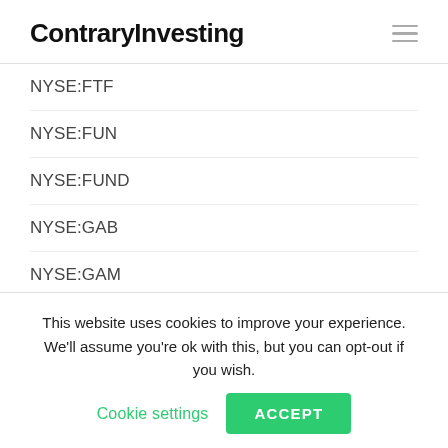ContraryInvesting
NYSE:FTF
NYSE:FUN
NYSE:FUND
NYSE:GAB
NYSE:GAM
NYSE:GBAB
NYSE:GBTC
NYSE:GCI
NYSE:GCV
This website uses cookies to improve your experience. We'll assume you're ok with this, but you can opt-out if you wish. Cookie settings ACCEPT